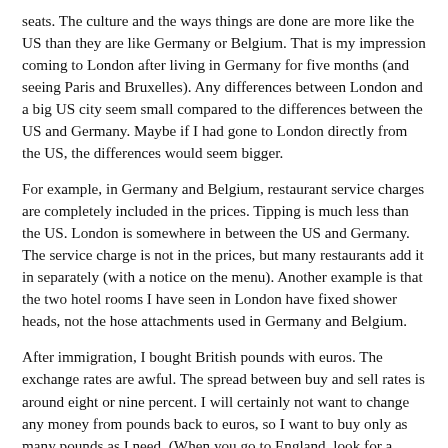seats. The culture and the ways things are done are more like the US than they are like Germany or Belgium. That is my impression coming to London after living in Germany for five months (and seeing Paris and Bruxelles). Any differences between London and a big US city seem small compared to the differences between the US and Germany. Maybe if I had gone to London directly from the US, the differences would seem bigger.
For example, in Germany and Belgium, restaurant service charges are completely included in the prices. Tipping is much less than the US. London is somewhere in between the US and Germany. The service charge is not in the prices, but many restaurants add it in separately (with a notice on the menu). Another example is that the two hotel rooms I have seen in London have fixed shower heads, not the hose attachments used in Germany and Belgium.
After immigration, I bought British pounds with euros. The exchange rates are awful. The spread between buy and sell rates is around eight or nine percent. I will certainly not want to change any money from pounds back to euros, so I want to buy only as many pounds as I need. (When you go to England, look for a currency exchange place that promises to buy back the local currency you do not spend at the same rate you paid for it.)
British currency is similar to US currency in that the coin sizes are...